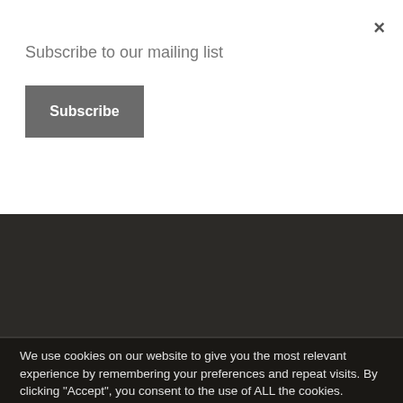Subscribe to our mailing list
Subscribe
Audi A3 Sportback e-tron 2016
Home > Audi A3 Sportback e-tron 2016
Photo (c) Audi
We use cookies on our website to give you the most relevant experience by remembering your preferences and repeat visits. By clicking “Accept”, you consent to the use of ALL the cookies. Do not sell my personal information.
Cookie Settings
Accept